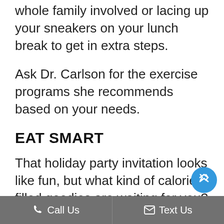whole family involved or lacing up your sneakers on your lunch break to get in extra steps.
Ask Dr. Carlson for the exercise programs she recommends based on your needs.
EAT SMART
That holiday party invitation looks like fun, but what kind of calorie-filled goodies are waiting for you?
You can avoid overdoing it at a party by eating a filling, nutritious meal before
Call Us   Text Us